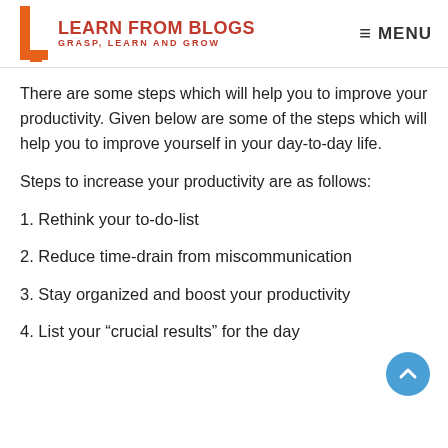LEARN FROM BLOGS — GRASP, LEARN AND GROW | MENU
There are some steps which will help you to improve your productivity. Given below are some of the steps which will help you to improve yourself in your day-to-day life.
Steps to increase your productivity are as follows:
1. Rethink your to-do-list
2. Reduce time-drain from miscommunication
3. Stay organized and boost your productivity
4. List your “crucial results” for the day